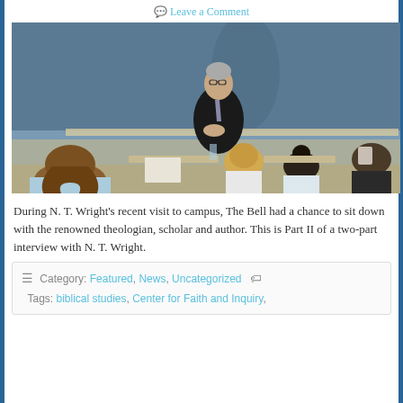Leave a Comment
[Figure (photo): A professor or speaker sitting in front of a chalkboard addressing a group of students seated at desks in a classroom setting. The speaker is an older man with glasses wearing a dark suit and tie.]
During N. T. Wright's recent visit to campus, The Bell had a chance to sit down with the renowned theologian, scholar and author. This is Part II of a two-part interview with N. T. Wright.
Category: Featured, News, Uncategorized
Tags: biblical studies, Center for Faith and Inquiry,